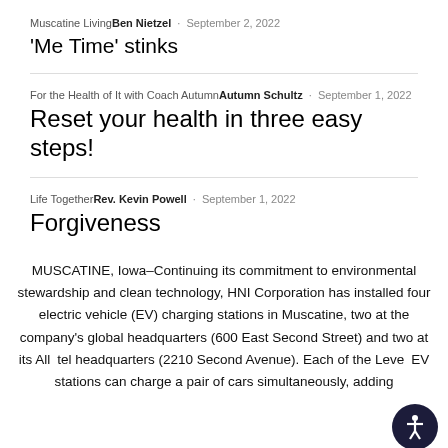Muscatine Living
Ben Nietzel · September 2, 2022
'Me Time' stinks
For the Health of It with Coach Autumn
Autumn Schultz · September 1, 2022
Reset your health in three easy steps!
Life Together
Rev. Kevin Powell · September 1, 2022
Forgiveness
MUSCATINE, Iowa–Continuing its commitment to environmental stewardship and clean technology, HNI Corporation has installed four electric vehicle (EV) charging stations in Muscatine, two at the company's global headquarters (600 East Second Street) and two at its Allsteel headquarters (2210 Second Avenue). Each of the Level 2 EV stations can charge a pair of cars simultaneously, adding